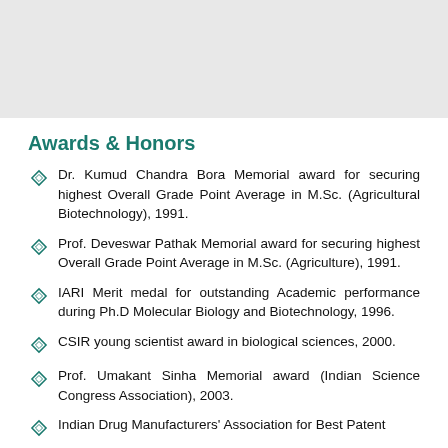[Figure (other): Gray image placeholder at top of page]
Awards & Honors
Dr. Kumud Chandra Bora Memorial award for securing highest Overall Grade Point Average in M.Sc. (Agricultural Biotechnology), 1991.
Prof. Deveswar Pathak Memorial award for securing highest Overall Grade Point Average in M.Sc. (Agriculture), 1991.
IARI Merit medal for outstanding Academic performance during Ph.D Molecular Biology and Biotechnology, 1996.
CSIR young scientist award in biological sciences, 2000.
Prof. Umakant Sinha Memorial award (Indian Science Congress Association), 2003.
Indian Drug Manufacturers' Association for Best Patent